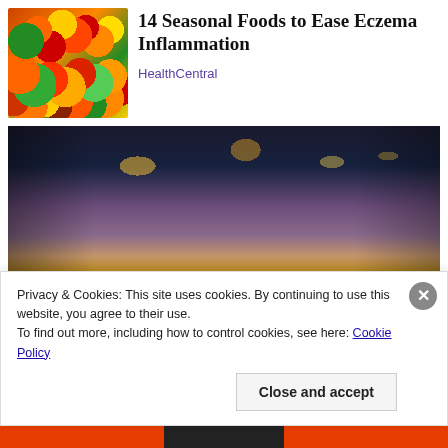[Figure (photo): Colorful assortment of fresh fruits and vegetables including citrus, peppers, tomatoes, and greens]
14 Seasonal Foods to Ease Eczema Inflammation
HealthCentral
[Figure (photo): Woman in plaid shirt shopping in a grocery store aisle, reading a product label]
Privacy & Cookies: This site uses cookies. By continuing to use this website, you agree to their use.
To find out more, including how to control cookies, see here: Cookie Policy
Close and accept